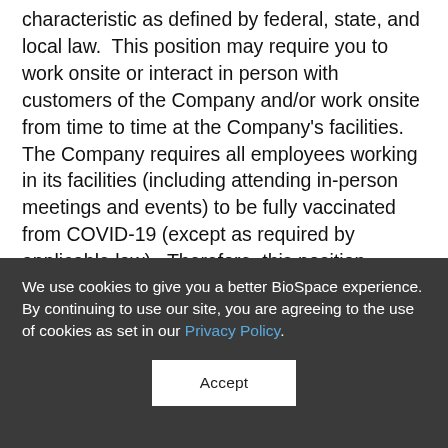characteristic as defined by federal, state, and local law.  This position may require you to work onsite or interact in person with customers of the Company and/or work onsite from time to time at the Company's facilities.  The Company requires all employees working in its facilities (including attending in-person meetings and events) to be fully vaccinated from COVID-19 (except as required by applicable law).  Therefore, this position requires you to be fully vaccinated from COVID-19, subject to reasonable accommodations for a disability/medical condition or sincerely held religious belief, and/or as
We use cookies to give you a better BioSpace experience. By continuing to use our site, you are agreeing to the use of cookies as set in our Privacy Policy.
Accept